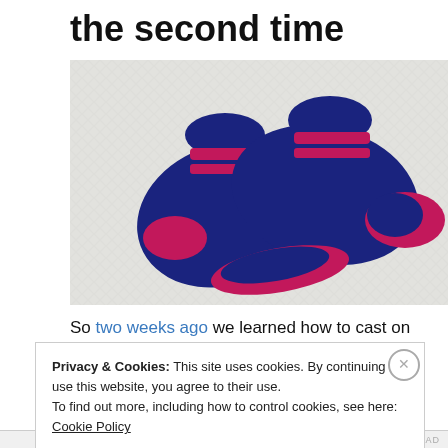the second time
[Figure (photo): Two hand-knitted baby socks in navy blue with red/pink stripes at the cuff, heel, and toe, lying on a white textured background.]
So two weeks ago we learned how to cast on and create
Privacy & Cookies: This site uses cookies. By continuing to use this website, you agree to their use. To find out more, including how to control cookies, see here: Cookie Policy
Close and accept